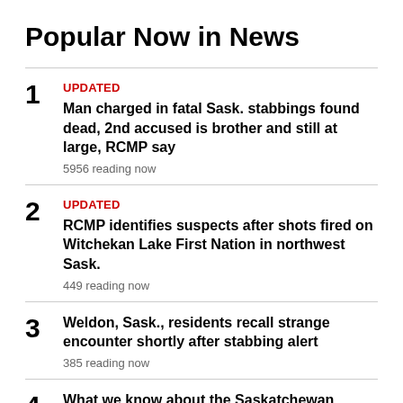Popular Now in News
1 UPDATED Man charged in fatal Sask. stabbings found dead, 2nd accused is brother and still at large, RCMP say 5956 reading now
2 UPDATED RCMP identifies suspects after shots fired on Witchekan Lake First Nation in northwest Sask. 449 reading now
3 Weldon, Sask., residents recall strange encounter shortly after stabbing alert 385 reading now
4 What we know about the Saskatchewan communities devastated by mass stabbings